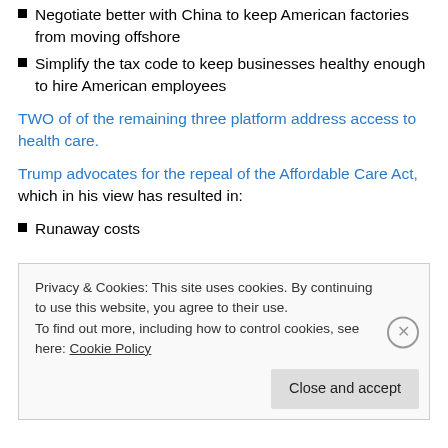Negotiate better with China to keep American factories from moving offshore
Simplify the tax code to keep businesses healthy enough to hire American employees
TWO of of the remaining three platform address access to health care.
Trump advocates for the repeal of the Affordable Care Act, which in his view has resulted in:
Runaway costs
Privacy & Cookies: This site uses cookies. By continuing to use this website, you agree to their use.
To find out more, including how to control cookies, see here: Cookie Policy